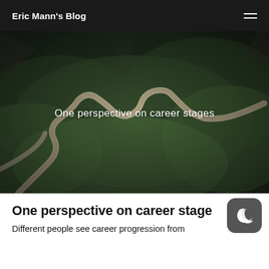Eric Mann's Blog
[Figure (photo): Aerial view of a winding mountain road through green forested terrain, used as hero image for a blog post about career stages]
One perspective on career stages
One perspective on career stage
Different people see career progression from